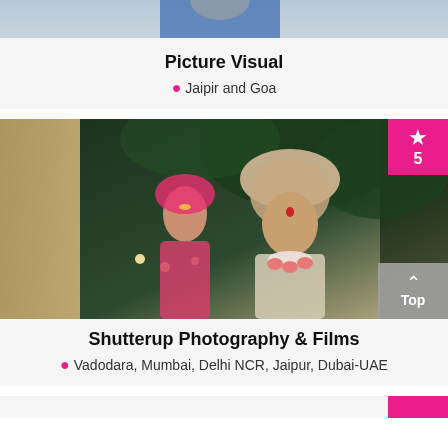[Figure (photo): Top portion of a photo card showing partial image]
Picture Visual
Jaipir and Goa
[Figure (photo): Wedding photo of Indian bride and groom in traditional attire, outdoors at night with bokeh lights, number 5 badge in top right corner]
Shutterup Photography & Films
Vadodara, Mumbai, Delhi NCR, Jaipur, Dubai-UAE
[Figure (photo): Bottom stub of another photographer card with pink badge]